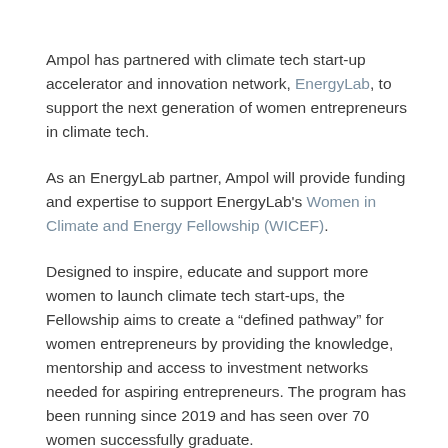Ampol has partnered with climate tech start-up accelerator and innovation network, EnergyLab, to support the next generation of women entrepreneurs in climate tech.
As an EnergyLab partner, Ampol will provide funding and expertise to support EnergyLab's Women in Climate and Energy Fellowship (WICEF).
Designed to inspire, educate and support more women to launch climate tech start-ups, the Fellowship aims to create a "defined pathway" for women entrepreneurs by providing the knowledge, mentorship and access to investment networks needed for aspiring entrepreneurs. The program has been running since 2019 and has seen over 70 women successfully graduate.
Ampol Executive General Manager, International and New Business Brent Merrick, says the partnership forms part of Ampol's future energy...